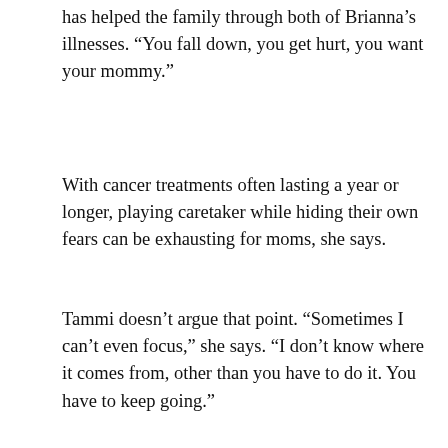has helped the family through both of Brianna’s illnesses. “You fall down, you get hurt, you want your mommy.”
With cancer treatments often lasting a year or longer, playing caretaker while hiding their own fears can be exhausting for moms, she says.
Tammi doesn’t argue that point. “Sometimes I can’t even focus,” she says. “I don’t know where it comes from, other than you have to do it. You have to keep going.”
A challenged parent
[Figure (photo): Partial photo visible at bottom of page, dark tones suggesting a portrait or candid photograph]